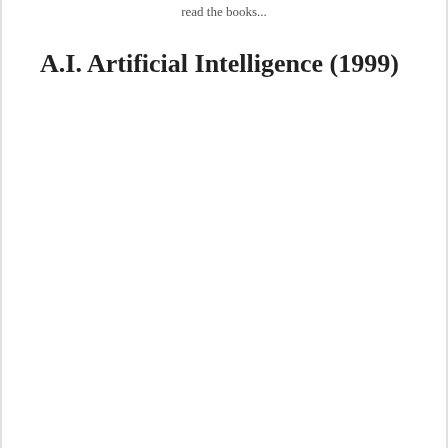read the books...
A.I. Artificial Intelligence (1999)